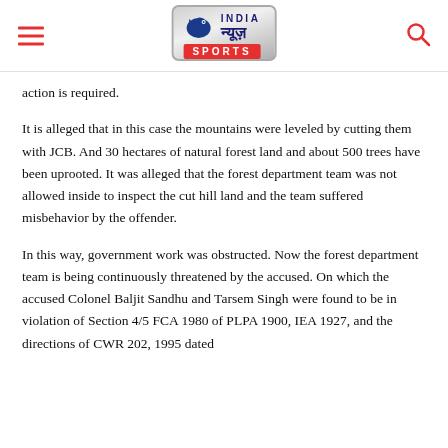India News Sports
action is required.
It is alleged that in this case the mountains were leveled by cutting them with JCB. And 30 hectares of natural forest land and about 500 trees have been uprooted. It was alleged that the forest department team was not allowed inside to inspect the cut hill land and the team suffered misbehavior by the offender.
In this way, government work was obstructed. Now the forest department team is being continuously threatened by the accused. On which the accused Colonel Baljit Sandhu and Tarsem Singh were found to be in violation of Section 4/5 FCA 1980 of PLPA 1900, IEA 1927, and the directions of CWR 202, 1995 dated